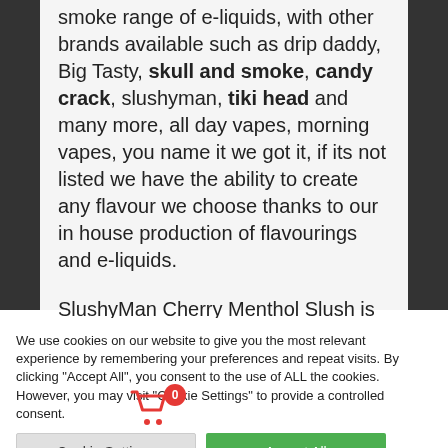smoke range of e-liquids, with other brands available such as drip daddy, Big Tasty, skull and smoke, candy crack, slushyman, tiki head and many more, all day vapes, morning vapes, you name it we got it, if its not listed we have the ability to create any flavour we choose thanks to our in house production of flavourings and e-liquids.

SlushyMan Cherry Menthol Slush is a sweet
We use cookies on our website to give you the most relevant experience by remembering your preferences and repeat visits. By clicking "Accept All", you consent to the use of ALL the cookies. However, you may visit "Cookie Settings" to provide a controlled consent.